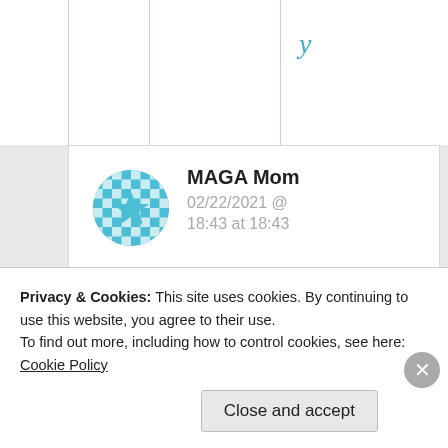y
[Figure (other): Blue checkerboard circular avatar icon for user MAGA Mom]
MAGA Mom
02/22/2021 @ 18:43 at 18:43
Thank you
Liked by 1 person
Privacy & Cookies: This site uses cookies. By continuing to use this website, you agree to their use.
To find out more, including how to control cookies, see here: Cookie Policy
Close and accept